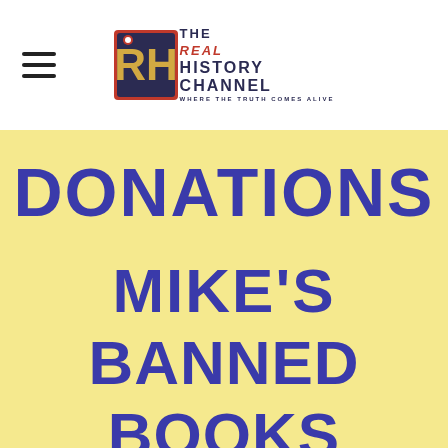The Real History Channel — Where The Truth Comes Alive
DONATIONS
MIKE'S
BANNED
BOOKS